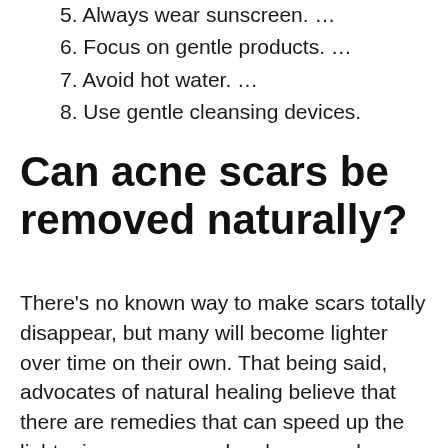4. Moisturize. …
5. Always wear sunscreen. …
6. Focus on gentle products. …
7. Avoid hot water. …
8. Use gentle cleansing devices.
Can acne scars be removed naturally?
There's no known way to make scars totally disappear, but many will become lighter over time on their own. That being said, advocates of natural healing believe that there are remedies that can speed up the lightening process and make a scar less noticeable.